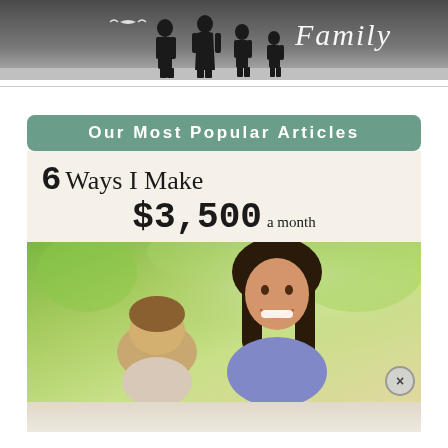[Figure (photo): Top banner with silhouettes of a family (adults and children) against a gray gradient background, with cursive 'Family' text overlay and decorative scroll ornament]
Our Most Popular Articles
[Figure (infographic): Article card image with text '6 Ways I Make $3,500 a month' over a stylized background, with a photo of a smiling woman with long dark hair leaning over a child, set in an outdoor green background. Partial image continues at bottom showing another person.]